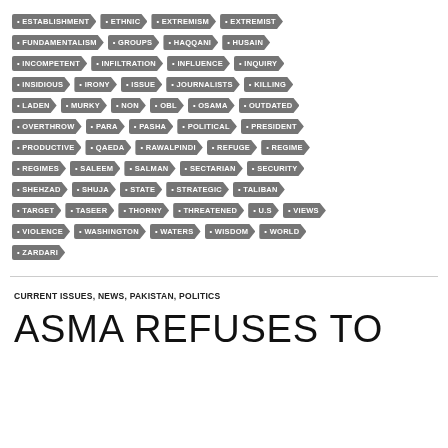[Figure (infographic): A collection of keyword tags styled as arrow/chevron badges in dark gray with white text. Tags include: ESTABLISHMENT, ETHNIC, EXTREMISM, EXTREMIST, FUNDAMENTALISM, GROUPS, HAQQANI, HUSAIN, INCOMPETENT, INFILTRATION, INFLUENCE, INQUIRY, INSIDIOUS, IRONY, ISSUE, JOURNALISTS, KILLING, LADEN, MURKY, NON, OBL, OSAMA, OUTDATED, OVERTHROW, PARA, PASHA, POLITICAL, PRESIDENT, PRODUCTIVE, QAEDA, RAWALPINDI, REFUGE, REGIME, REGIMES, SALEEM, SALMAN, SECTARIAN, SECURITY, SHEHZAD, SHUJA, STATE, STRATEGIC, TALIBAN, TARGET, TASEER, THORNY, THREATENED, U.S, VIEWS, VIOLENCE, WASHINGTON, WATERS, WISDOM, WORLD, ZARDARI]
CURRENT ISSUES, NEWS, PAKISTAN, POLITICS
ASMA REFUSES TO